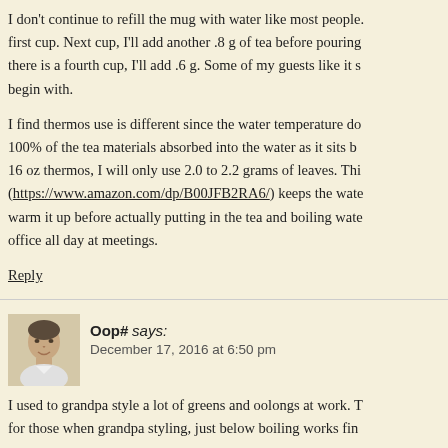I don't continue to refill the mug with water like most people. first cup. Next cup, I'll add another .8 g of tea before pouring there is a fourth cup, I'll add .6 g. Some of my guests like it s begin with.
I find thermos use is different since the water temperature do 100% of the tea materials absorbed into the water as it sits b 16 oz thermos, I will only use 2.0 to 2.2 grams of leaves. Thi (https://www.amazon.com/dp/B00JFB2RA6/) keeps the wate warm it up before actually putting in the tea and boiling wate office all day at meetings.
Reply
Oop# says:
December 17, 2016 at 6:50 pm
I used to grandpa style a lot of greens and oolongs at work. for those when grandpa styling, just below boiling works fin